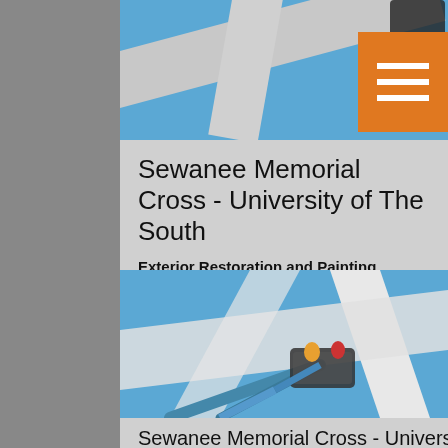[Figure (photo): Close-up photo of a large white cross structure against a blue sky, viewed from below]
Sewanee Memorial Cross - University of The South
Exterior Restoration and Painting
[Figure (photo): Worker in a cherry picker / boom lift bucket working on painting a large white cross structure against a blue sky]
Sewanee Memorial Cross - University